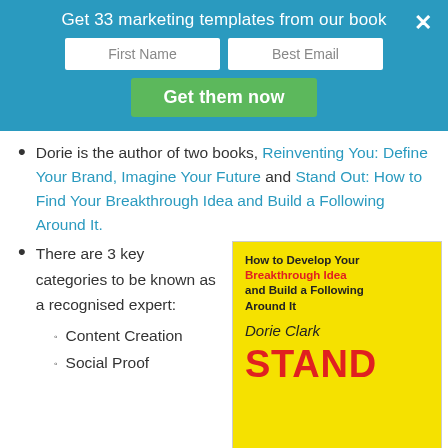Get 33 marketing templates from our book
First Name | Best Email | Get them now
Dorie is the author of two books, Reinventing You: Define Your Brand, Imagine Your Future and Stand Out: How to Find Your Breakthrough Idea and Build a Following Around It.
There are 3 key categories to be known as a recognised expert:
[Figure (illustration): Book cover of Stand Out by Dorie Clark, yellow background with red bold text STAND at bottom, subtitle: How to Develop Your Breakthrough Idea and Build a Following Around It]
Content Creation
Social Proof